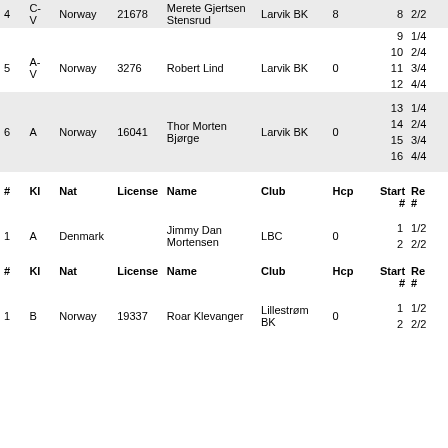| # | Kl | Nat | License | Name | Club | Hcp | Start # | Re # |
| --- | --- | --- | --- | --- | --- | --- | --- | --- |
| 4 | C-V | Norway | 21678 | Merete Gjertsen Stensrud | Larvik BK | 8 | 8 | 2/2 |
|  |  |  |  |  |  |  | 9 | 1/4 |
| 5 | A-V | Norway | 3276 | Robert Lind | Larvik BK | 0 | 10 | 2/4 |
|  |  |  |  |  |  |  | 11 | 3/4 |
|  |  |  |  |  |  |  | 12 | 4/4 |
| 6 | A | Norway | 16041 | Thor Morten Bjørge | Larvik BK | 0 | 13 | 1/4 |
|  |  |  |  |  |  |  | 14 | 2/4 |
|  |  |  |  |  |  |  | 15 | 3/4 |
|  |  |  |  |  |  |  | 16 | 4/4 |
| # | Kl | Nat | License | Name | Club | Hcp | Start # | Re # |
| --- | --- | --- | --- | --- | --- | --- | --- | --- |
| 1 | A | Denmark |  | Jimmy Dan Mortensen | LBC | 0 | 1 | 1/2 |
|  |  |  |  |  |  |  | 2 | 2/2 |
| # | Kl | Nat | License | Name | Club | Hcp | Start # | Re # |
| --- | --- | --- | --- | --- | --- | --- | --- | --- |
| 1 | B | Norway | 19337 | Roar Klevanger | Lillestrøm BK | 0 | 1 | 1/2 |
|  |  |  |  |  |  |  | 2 | 2/2 |